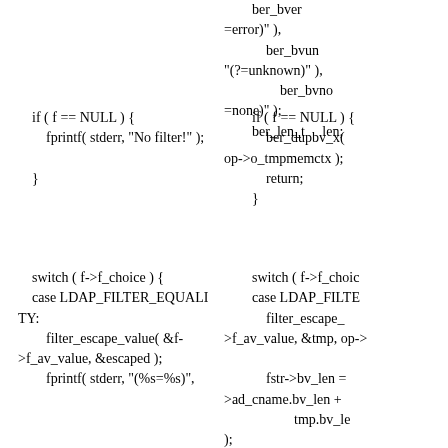ber_bver =error)" ),
            ber_bvun "(?=unknown)" ),
                ber_bvno =none)" );
        ber_len_t     len;
if ( f == NULL ) {
        fprintf( stderr, "No filter!" );

    }
if ( f == NULL ) {
            ber_dupbv_x( op->o_tmpmemctx );
            return;
        }
switch ( f->f_choice ) {
    case LDAP_FILTER_EQUALITY:
        filter_escape_value( &f->f_av_value, &escaped );
        fprintf( stderr, "(%s=%s)",
switch ( f->f_choice {
    case LDAP_FILTE
        filter_escape_ >f_av_value, &tmp, op->

            fstr->bv_len = >ad_cname.bv_len +
                    tmp.bv_le );
            fstr->bv_val = >bv_len + 1, op->o_tmpr